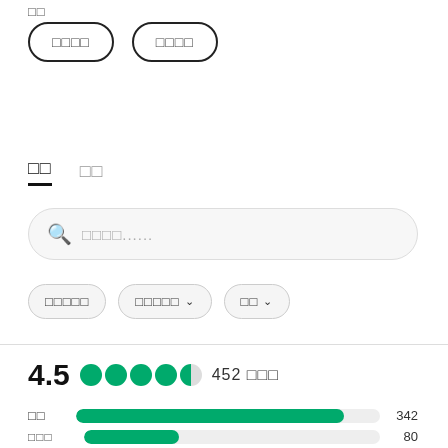□□
[Figure (other): Two pill-shaped outlined buttons with placeholder text □□□□]
□□   □□
[Figure (other): Search bar with magnifying glass icon and placeholder text □□□□......]
[Figure (other): Three filter pills: □□□□□, □□□□□ with chevron, □□ with chevron]
4.5  ●●●●◑  452 □□□
□□   342
□□□   80